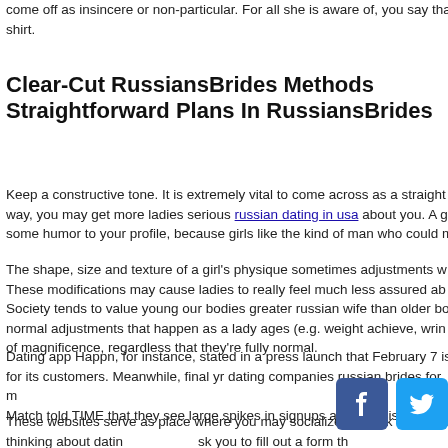come off as insincere or non-particular. For all she is aware of, you say that about every shirt.
Clear-Cut RussiansBrides Methods Straightforward Plans In RussiansBrides
Keep a constructive tone. It is extremely vital to come across as a straightforward way, you may get more ladies serious russian dating in usa about you. A g… some humor to your profile, because girls like the kind of man who could m…
The shape, size and texture of a girl's physique sometimes adjustments w… These modifications may cause ladies to really feel much less assured ab… Society tends to value young our bodies greater russian wife than older bo… normal adjustments that happen as a lady ages (e.g. weight achieve, wrin… of magnificence, regardless that they're fully normal.
Dating app Happn, for instance, stated in a press launch that February 7 is… for its customers. Meanwhile, final yr dating companies russian brides for m… Match told TIME that they see large spikes in signups and exercise across…
These websites serve as place where you may socialize and talk with diffe… thinking about datin… sk you to fill out a form th… brides for marriage ir personal information an… select to incorporate ata you submit will proba…
[Figure (infographic): Social sharing buttons: Facebook (blue), Twitter (light blue), LinkedIn (dark blue), Email (teal)]